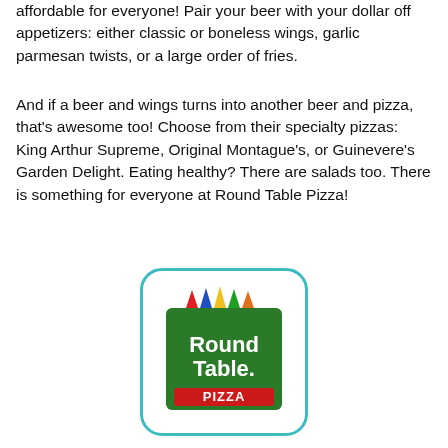affordable for everyone! Pair your beer with your dollar off appetizers: either classic or boneless wings, garlic parmesan twists, or a large order of fries.
And if a beer and wings turns into another beer and pizza, that's awesome too! Choose from their specialty pizzas: King Arthur Supreme, Original Montague's, or Guinevere's Garden Delight. Eating healthy? There are salads too. There is something for everyone at Round Table Pizza!
[Figure (logo): Round Table Pizza logo: green shield with colorful pennants on top, white text 'Round Table' and red banner with white text 'PIZZA', enclosed in a rounded rectangle with teal border]